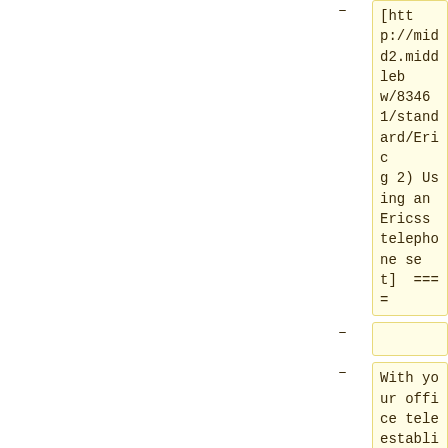[http://midd2.middleb w/83461/standard/Eric g 2) Using an Ericss telephone set]  ====
With your office tele establish a connectio parties on the campu system. For full ins the [http://www.middlebu 134141/original/Facu eference_Guide_updat f quick reference gu
==== [http://midd2.middleb w/134801/standard/an an analog (single li